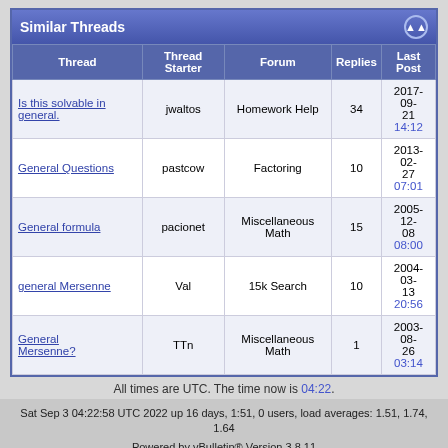Similar Threads
| Thread | Thread Starter | Forum | Replies | Last Post |
| --- | --- | --- | --- | --- |
| Is this solvable in general. | jwaltos | Homework Help | 34 | 2017-09-21 14:12 |
| General Questions | pastcow | Factoring | 10 | 2013-02-27 07:01 |
| General formula | pacionet | Miscellaneous Math | 15 | 2005-12-08 08:00 |
| general Mersenne | Val | 15k Search | 10 | 2004-03-13 20:56 |
| General Mersenne? | TTn | Miscellaneous Math | 1 | 2003-08-26 03:14 |
All times are UTC. The time now is 04:22.
Sat Sep 3 04:22:58 UTC 2022 up 16 days, 1:51, 0 users, load averages: 1.51, 1.74, 1.64
Powered by vBulletin® Version 3.8.11
Copyright ©2000 - 2022, Jelsoft Enterprises Ltd.
This forum has received and complied with 0 (zero) government requests for information.
Permission is granted to copy, distribute and/or modify this document under the terms of the GNU Free Documentation License, Version 1.2 or any later version published by the Free Software Foundation.